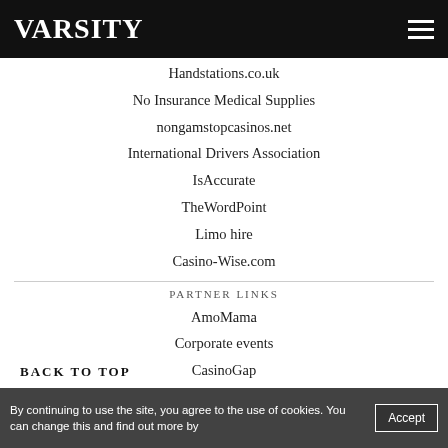VARSITY
Handstations.co.uk
No Insurance Medical Supplies
nongamstopcasinos.net
International Drivers Association
IsAccurate
TheWordPoint
Limo hire
Casino-Wise.com
PARTNER LINKS
AmoMama
Corporate events
CasinoGap
NonStopCasino
NGB
NGS
SureBet
Casino utan konto
BACK TO TOP
By continuing to use the site, you agree to the use of cookies. You can change this and find out more by